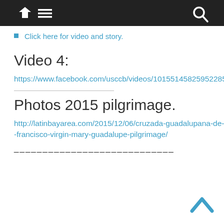[Figure (other): Navigation bar with home icon, hamburger menu, and search icon on dark background]
Click here for video and story.
Video 4:
https://www.facebook.com/usccb/videos/10155145825952285/
Photos 2015 pilgrimage.
http://latinbayarea.com/2015/12/06/cruzada-guadalupana-de-san-francisco-virgin-mary-guadalupe-pilgrimage/
____________________________